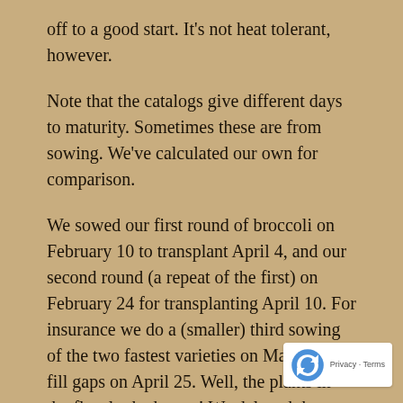off to a good start. It's not heat tolerant, however.
Note that the catalogs give different days to maturity. Sometimes these are from sowing. We've calculated our own for comparison.
We sowed our first round of broccoli on February 10 to transplant April 4, and our second round (a repeat of the first) on February 24 for transplanting April 10. For insurance we do a (smaller) third sowing of the two fastest varieties on March 6 to fill gaps on April 25. Well, the plants in the flats looked great! We delayed the start of transplanting because of the weather. We transplanted on April 4 and…